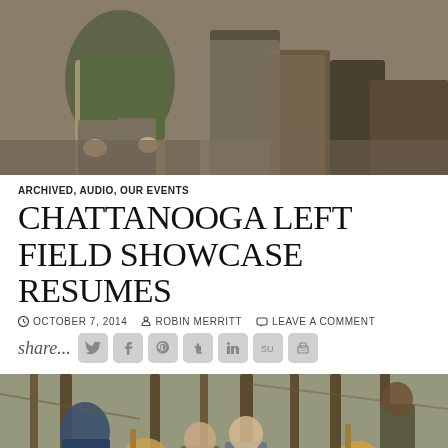[Figure (photo): Top cropped photo showing people sitting outdoors, partial view of torsos and hands, earthy tones, green and khaki clothing]
ARCHIVED, AUDIO, OUR EVENTS
CHATTANOOGA LEFT FIELD SHOWCASE RESUMES
OCTOBER 7, 2014   ROBIN MERRITT   LEAVE A COMMENT
share...
[Figure (photo): Band photo of four people with acoustic guitars in a wooded forest setting with bare trees]